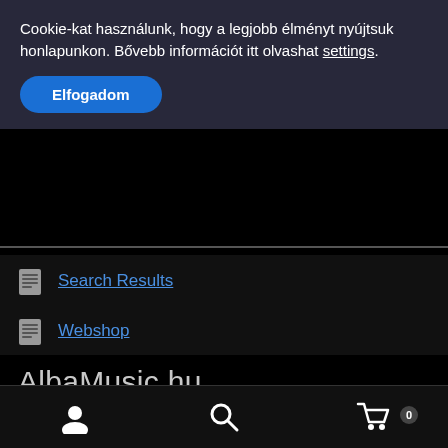Cookie-kat használunk, hogy a legjobb élményt nyújtsuk honlapunkon. Bővebb információt itt olvashat settings.
Elfogadom
Search Results
Webshop
AlbaMusic.hu
Musicworld Hungary Kft
8000. Székesfehérvár, Poprádi utca 61.
Adószám: 14804058-2-07
[user icon] [search icon] [cart icon] 0